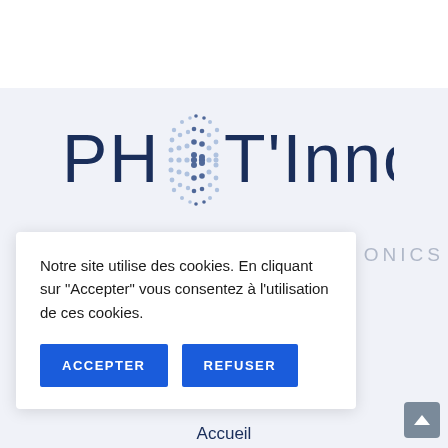[Figure (logo): PHOT'Innov logo with globe-like dot pattern in center replacing the O between PH and T]
ONICS
Notre site utilise des cookies. En cliquant sur "Accepter" vous consentez à l'utilisation de ces cookies.
ACCEPTER
REFUSER
Accueil